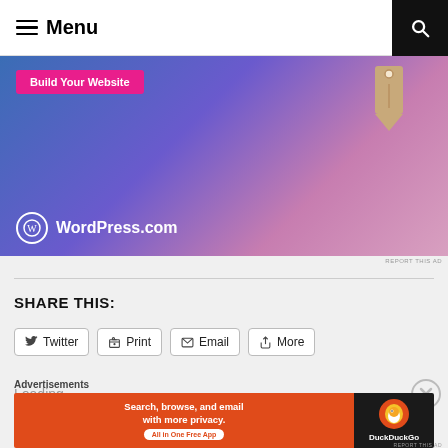Menu
[Figure (screenshot): WordPress.com advertisement banner with blue-purple gradient background, 'Build Your Website' pink button, a price tag graphic, and WordPress.com logo at bottom left]
REPORT THIS AD
SHARE THIS:
[Figure (other): Share buttons row: Twitter, Print, Email, More]
Loading...
Advertisements
[Figure (screenshot): DuckDuckGo advertisement: 'Search, browse, and email with more privacy. All in One Free App' on orange background with DuckDuckGo duck logo on dark background]